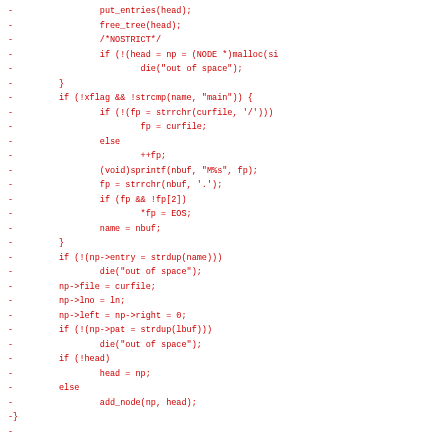-                 put_entries(head);
-                 free_tree(head);
-                 /*NOSTRICT*/
-                 if (!(head = np = (NODE *)malloc(si
-                         die("out of space");
-         }
-         if (!xflag && !strcmp(name, "main")) {
-                 if (!(fp = strrchr(curfile, '/')))
-                         fp = curfile;
-                 else
-                         ++fp;
-                 (void)sprintf(nbuf, "M%s", fp);
-                 fp = strrchr(nbuf, '.');
-                 if (fp && !fp[2])
-                         *fp = EOS;
-                 name = nbuf;
-         }
-         if (!(np->entry = strdup(name)))
-                 die("out of space");
-         np->file = curfile;
-         np->lno = ln;
-         np->left = np->right = 0;
-         if (!(np->pat = strdup(lbuf)))
-                 die("out of space");
-         if (!head)
-                 head = np;
-         else
-                 add_node(np, head);
-}
-